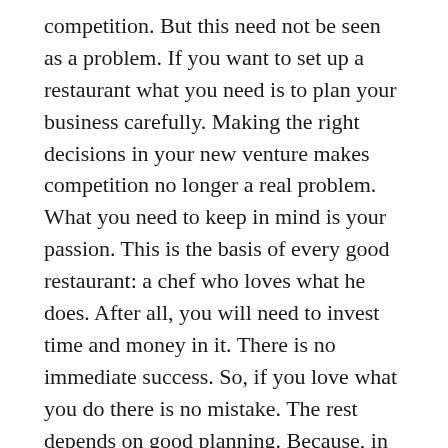competition. But this need not be seen as a problem. If you want to set up a restaurant what you need is to plan your business carefully. Making the right decisions in your new venture makes competition no longer a real problem. What you need to keep in mind is your passion. This is the basis of every good restaurant: a chef who loves what he does. After all, you will need to invest time and money in it. There is no immediate success. So, if you love what you do there is no mistake. The rest depends on good planning. Because, in the end, there is no one who denies a good meal in a quality establishment.
Best Italian Restaurant Alpharetta